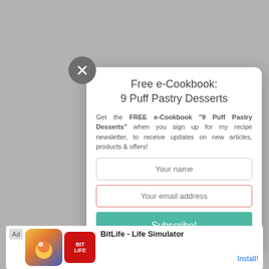This Phi... became my most... a lot of sandwic... ig fans of the gr... have sandwiches as breakfast, evidenced here:
[Figure (screenshot): Email subscription modal popup for a free e-Cookbook titled '9 Puff Pastry Desserts' with close button, name and email input fields, and a Subscribe button. Overlaid on a recipe article page.]
Free e-Cookbook:
9 Puff Pastry Desserts
Get the FREE e-Cookbook "9 Puff Pastry Desserts" when you sign up for my recipe newsletter, to receive updates on new articles, products & offers!
[Figure (screenshot): Ad banner for BitLife - Life Simulator app, showing Ad label, game artwork, logo, app name, and Install button.]